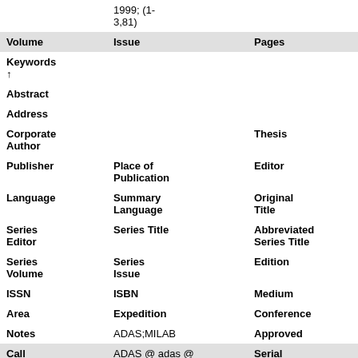| Volume | Issue | Pages |  |
| --- | --- | --- | --- |
| Keywords ↑ |  |  |  |
| Abstract |  |  |  |
| Address |  |  |  |
| Corporate Author |  | Thesis |  |
| Publisher | Place of Publication | Editor |  |
| Language | Summary Language | Original Title |  |
| Series Editor | Series Title | Abbreviated Series Title |  |
| Series Volume | Series Issue | Edition |  |
| ISSN | ISBN | Medium |  |
| Area | Expedition | Conference |  |
| Notes | ADAS;MILAB | Approved | no |
| Call Number | ADAS @ adas @ ASR2007b | Serial | 92 |